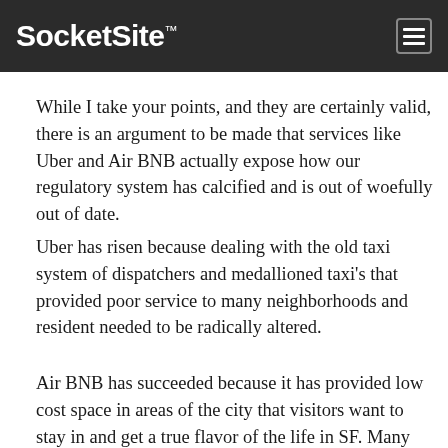SocketSite™
While I take your points, and they are certainly valid, there is an argument to be made that services like Uber and Air BNB actually expose how our regulatory system has calcified and is out of woefully out of date.
Uber has risen because dealing with the old taxi system of dispatchers and medallioned taxi's that provided poor service to many neighborhoods and resident needed to be radically altered.
Air BNB has succeeded because it has provided low cost space in areas of the city that visitors want to stay in and get a true flavor of the life in SF. Many potential visitors do not want to stay in high cost, tourist trap hotels/motels at Fisherman's Wharf. They want to stay in an area that feels like the ‘real’ SF.
Obviously there are problems with these services that should (and will be addressed). However, these ‘disruptive’ apps are doing a great job at pointing out the long overdue and much needed revamping of the regulatory state for many goods and services that has not adapted to the technological revolution of